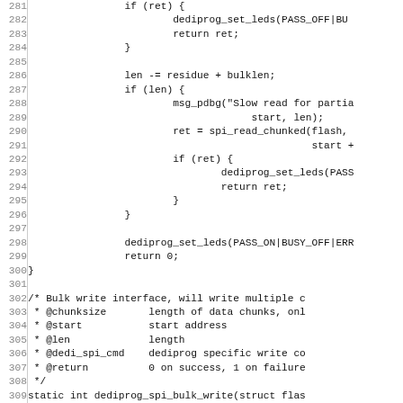[Figure (other): Source code listing (C language), lines 281-311, showing dediprog SPI flash read/write functions with line numbers on left and code on right.]